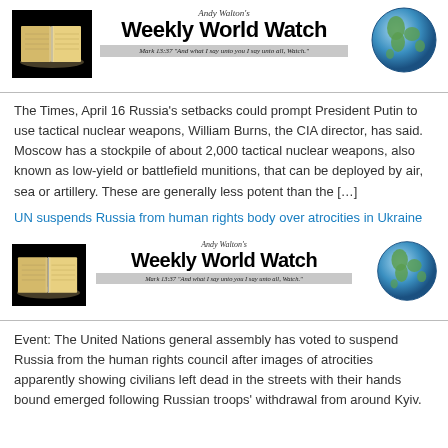[Figure (illustration): Andy Walton's Weekly World Watch banner with open Bible book image on left, title text in center, and globe on right. Tagline: Mark 13:37 'And what I say unto you I say unto all, Watch.']
The Times, April 16 Russia's setbacks could prompt President Putin to use tactical nuclear weapons, William Burns, the CIA director, has said. Moscow has a stockpile of about 2,000 tactical nuclear weapons, also known as low-yield or battlefield munitions, that can be deployed by air, sea or artillery. These are generally less potent than the […]
UN suspends Russia from human rights body over atrocities in Ukraine
[Figure (illustration): Andy Walton's Weekly World Watch banner with open Bible book image on left, title text in center, and globe on right. Tagline: Mark 13:37 'And what I say unto you I say unto all, Watch.']
Event: The United Nations general assembly has voted to suspend Russia from the human rights council after images of atrocities apparently showing civilians left dead in the streets with their hands bound emerged following Russian troops' withdrawal from around Kyiv.